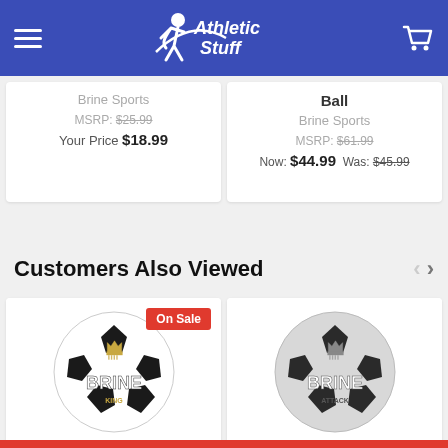Athletic Stuff
Brine Sports
MSRP: $25.99
Your Price $18.99
Ball
Brine Sports
MSRP: $61.99
Now: $44.99  Was: $45.99
Customers Also Viewed
[Figure (photo): Brine soccer ball (black and white, King branding) with On Sale badge]
[Figure (photo): Brine Attack soccer ball (silver/grey and black)]